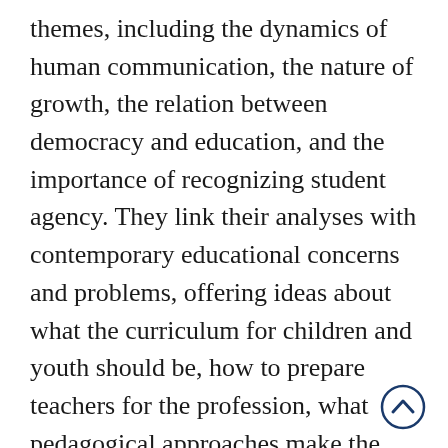themes, including the dynamics of human communication, the nature of growth, the relation between democracy and education, and the importance of recognizing student agency. They link their analyses with contemporary educational concerns and problems, offering ideas about what the curriculum for children and youth should be, how to prepare teachers for the profession, what pedagogical approaches make the most sense given societal trends, and how to reconstruct the purposes of school. This first book-length study of Dewey's extraordinary text attests to the continued power in his work and to the diverse audience of educators to whom he has long appealed.